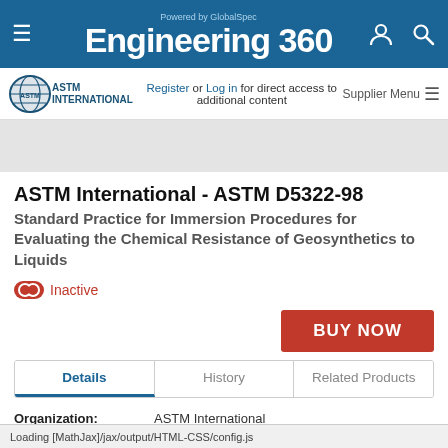Powered by GlobalSpec Engineering 360
[Figure (logo): ASTM International logo with globe icon]
Register or Log in for direct access to additional content
Supplier Menu
ASTM International - ASTM D5322-98
Standard Practice for Immersion Procedures for Evaluating the Chemical Resistance of Geosynthetics to Liquids
Inactive
BUY NOW
Details  History  Related Products
Organization: ASTM International
Publication Date: January 1998
Loading [MathJax]/jax/output/HTML-CSS/config.js